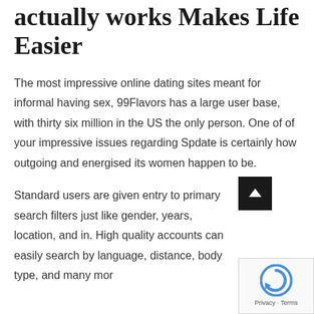actually works Makes Life Easier
The most impressive online dating sites meant for informal having sex, 99Flavors has a large user base, with thirty six million in the US the only person. One of of your impressive issues regarding Spdate is certainly how outgoing and energised its women happen to be.
Standard users are given entry to primary search filters just like gender, years, location, and in. High quality accounts can easily search by language, distance, body type, and many mor